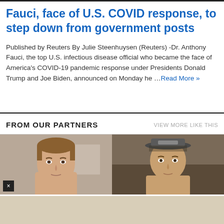Fauci, face of U.S. COVID response, to step down from government posts
Published by Reuters By Julie Steenhuysen (Reuters) -Dr. Anthony Fauci, the top U.S. infectious disease official who became the face of America's COVID-19 pandemic response under Presidents Donald Trump and Joe Biden, announced on Monday he … Read More »
FROM OUR PARTNERS
VIEW MORE LIKE THIS
[Figure (photo): Two thumbnail images side by side: left shows a young man with medium-length hair looking serious; right shows a young man wearing a baseball cap, shirtless, looking forward.]
×